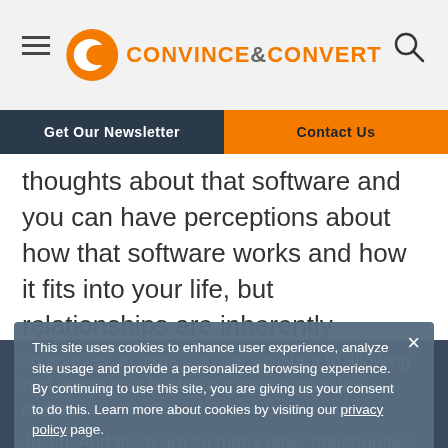Convince & Convert
Get Our Newsletter | Contact Us
thoughts about that software and you can have perceptions about how that software works and how it fits into your life, but relationships are inherently personal and I think it’s really, really smart to do that. It’s amazing to me how many B2B
companies, in particular, are resistant to allowing real employees to step out from behind the curtain. And there are so many other opportunities to that, which companies that weren’t even trying to do a
Justin. And there are so many other opportunities to that, which companies that were even trying to do a
This site uses cookies to enhance user experience, analyze site usage and provide a personalized browsing experience. By continuing to use this site, you are giving us your consent to do this. Learn more about cookies by visiting our privacy policy page.